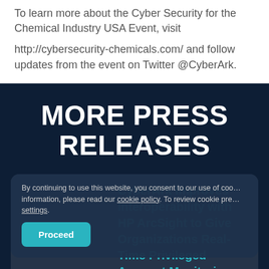To learn more about the Cyber Security for the Chemical Industry USA Event, visit
http://cybersecurity-chemicals.com/ and follow updates from the event on Twitter @CyberArk.
MORE PRESS RELEASES
By continuing to use this website, you consent to our use of cookies. For more information, please read our cookie policy. To review cookie preferences, click settings.
Proceed
CyberArk Improves Interoperability with HP ArcSight to Give Organizations Real-Time Privileged Account Monitoring and